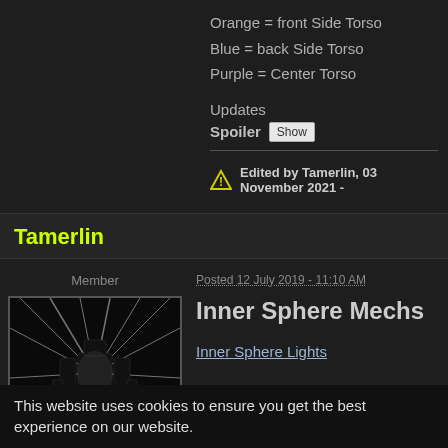Orange = front Side Torso
Blue = back Side Torso
Purple = Center Torso
Updates
Spoiler  Show
Edited by Tamerlin, 03 November 2021 -
Tamerlin
Member
[Figure (illustration): Black and white avatar image showing a mech silhouette with dramatic backlit rays]
Posted 12 July 2019 - 11:10 AM
Inner Sphere Mechs
Inner Sphere Lights
This website uses cookies to ensure you get the best experience on our website.